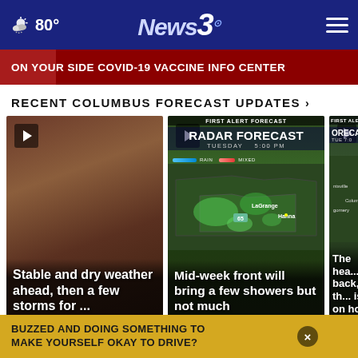80° | News 3
ON YOUR SIDE COVID-19 VACCINE INFO CENTER
RECENT COLUMBUS FORECAST UPDATES ›
[Figure (photo): Close-up photo of a hand with reddish-brown background, with text overlay: Stable and dry weather ahead, then a few storms for ...]
[Figure (screenshot): Radar Forecast map showing Tuesday 5:00 PM, First Alert Forecast, with weather map showing rain and mixed conditions near LaGrange and Hanna. Text overlay: Mid-week front will bring a few showers but not much]
[Figure (screenshot): First Alert Forecast map partially visible, TUE 7:0, showing ntsville, Columbu, gomery. Text overlay: The hea... back, th... is on ho...]
BUZZED AND DOING SOMETHING TO MAKE YOURSELF OKAY TO DRIVE?